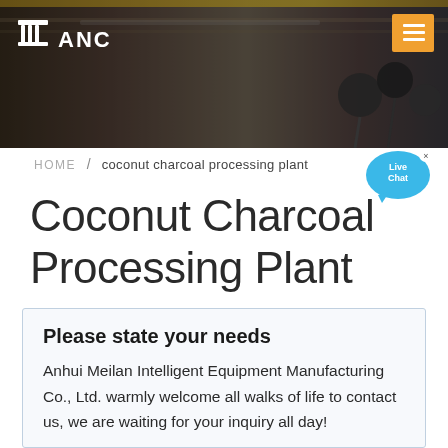[Figure (photo): Dark industrial/factory floor hero image with overhead equipment and microphones visible on the right side. ANC logo with building icon on left, orange hamburger menu button on right.]
HOME / coconut charcoal processing plant
[Figure (infographic): Live Chat speech bubble icon in blue with 'x' close button]
Coconut Charcoal Processing Plant
Please state your needs
Anhui Meilan Intelligent Equipment Manufacturing Co., Ltd. warmly welcome all walks of life to contact us, we are waiting for your inquiry all day!